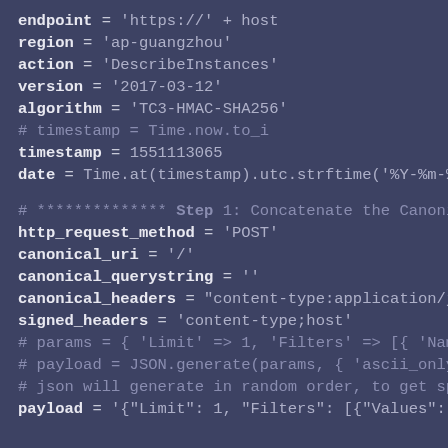endpoint = 'https://' + host
region = 'ap-guangzhou'
action = 'DescribeInstances'
version = '2017-03-12'
algorithm = 'TC3-HMAC-SHA256'
# timestamp = Time.now.to_i
timestamp = 1551113065
date = Time.at(timestamp).utc.strftime('%Y-%m-%d')
# ************** Step 1: Concatenate the CanonicalRec
http_request_method = 'POST'
canonical_uri = '/'
canonical_querystring = ''
canonical_headers = "content-type:application/json; ch
signed_headers = 'content-type;host'
# params = { 'Limit' => 1, 'Filters' => [{ 'Name' => 'instan
# payload = JSON.generate(params, { 'ascii_only' => tru
# json will generate in random order, to get specified re
payload = '{"Limit": 1, "Filters": [{"Values": ["unnamed"],'